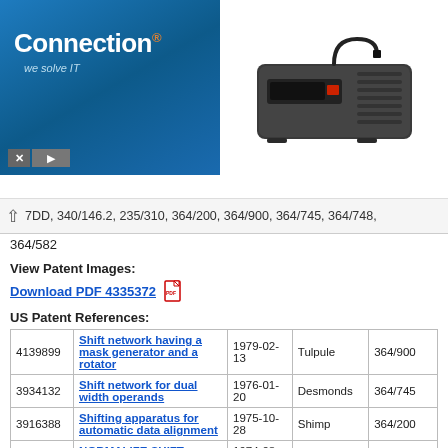[Figure (advertisement): Connection 'we solve IT' logo banner on blue gradient background on left, APC UPS product photo on right]
7DD, 340/146.2, 235/310, 364/200, 364/900, 364/745, 364/748, 364/582
View Patent Images:
Download PDF 4335372
US Patent References:
|  |  |  |  |  |
| --- | --- | --- | --- | --- |
| 4139899 | Shift network having a mask generator and a rotator | 1979-02-13 | Tulpule | 364/900 |
| 3934132 | Shift network for dual width operands | 1976-01-20 | Desmonds | 364/745 |
| 3916388 | Shifting apparatus for automatic data alignment | 1975-10-28 | Shimp | 364/200 |
| 3831012 | NORMALIZE SHIFT COUNT NETWORK | 1974-08-20 | Tate | 364/748 |